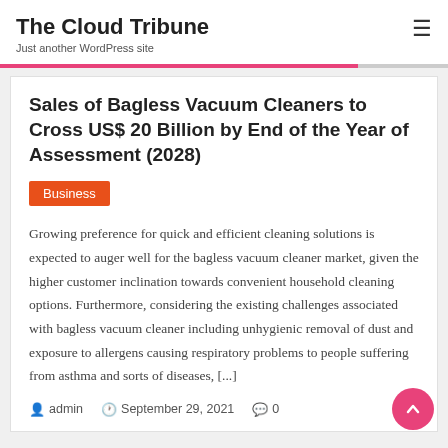The Cloud Tribune
Just another WordPress site
Sales of Bagless Vacuum Cleaners to Cross US$ 20 Billion by End of the Year of Assessment (2028)
Business
Growing preference for quick and efficient cleaning solutions is expected to auger well for the bagless vacuum cleaner market, given the higher customer inclination towards convenient household cleaning options. Furthermore, considering the existing challenges associated with bagless vacuum cleaner including unhygienic removal of dust and exposure to allergens causing respiratory problems to people suffering from asthma and sorts of diseases, [...]
admin   September 29, 2021   0